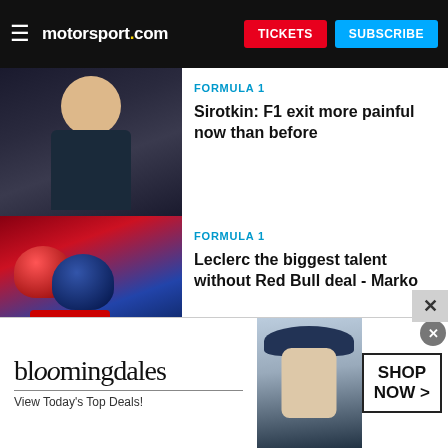motorsport.com — TICKETS | SUBSCRIBE
[Figure (photo): Photo of Sirotkin, a young racing driver in dark clothing against a blurred background]
FORMULA 1
Sirotkin: F1 exit more painful now than before
[Figure (photo): Photo of Leclerc and Verstappen with Red Bull branding]
FORMULA 1
Leclerc the biggest talent without Red Bull deal - Marko
[Figure (photo): Photo of Williams F1 team with car and team members, PRIME badge overlay]
FORMULA 1
The harsh realities of being an F1 outcast
[Figure (photo): Bloomingdales advertisement: 'bloomingdales / View Today's Top Deals!' with SHOP NOW > button and woman in hat photo]